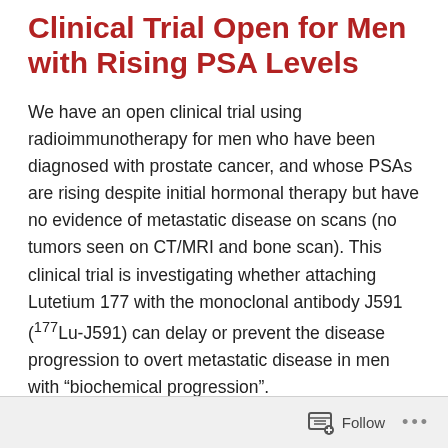Clinical Trial Open for Men with Rising PSA Levels
We have an open clinical trial using radioimmunotherapy for men who have been diagnosed with prostate cancer, and whose PSAs are rising despite initial hormonal therapy but have no evidence of metastatic disease on scans (no tumors seen on CT/MRI and bone scan). This clinical trial is investigating whether attaching Lutetium 177 with the monoclonal antibody J591 (177Lu-J591) can delay or prevent the disease progression to overt metastatic disease in men with "biochemical progression".
Follow